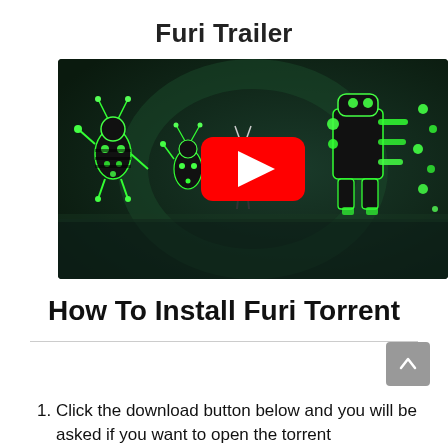Furi Trailer
[Figure (screenshot): YouTube video thumbnail showing a dark action game scene from Furi, with neon green glowing characters. A red YouTube play button is centered on the image.]
How To Install Furi Torrent
Click the download button below and you will be asked if you want to open the torrent